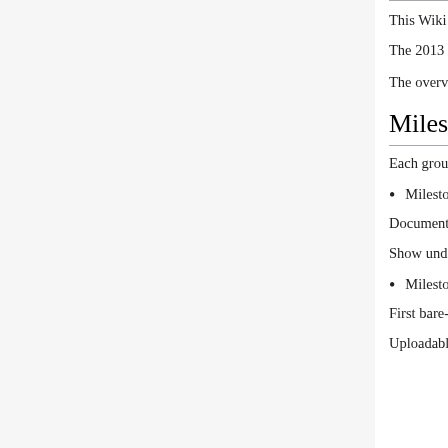This Wiki is used for documenting the group projects for INF5750 2014.
The 2013 page is available here.
The overview of group project tasks can be found here.
Milestones
Each group should follow these milestones:
Milestone 1: 1st November
Document features and architecture on Wiki
Show understanding of DHIS2 web apps
Milestone 2: 15th November
First bare-bone version - static HTML
Uploadable as DHIS2 web app